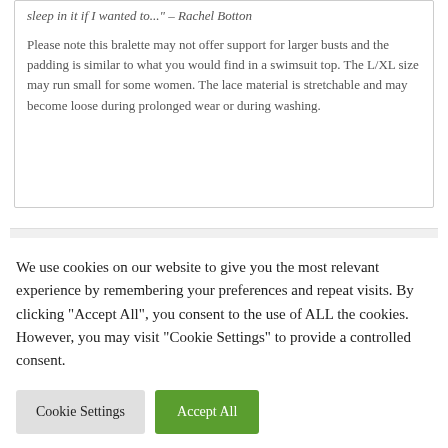sleep in it if I wanted to..." – Rachel Botton
Please note this bralette may not offer support for larger busts and the padding is similar to what you would find in a swimsuit top. The L/XL size may run small for some women. The lace material is stretchable and may become loose during prolonged wear or during washing.
We use cookies on our website to give you the most relevant experience by remembering your preferences and repeat visits. By clicking "Accept All", you consent to the use of ALL the cookies. However, you may visit "Cookie Settings" to provide a controlled consent.